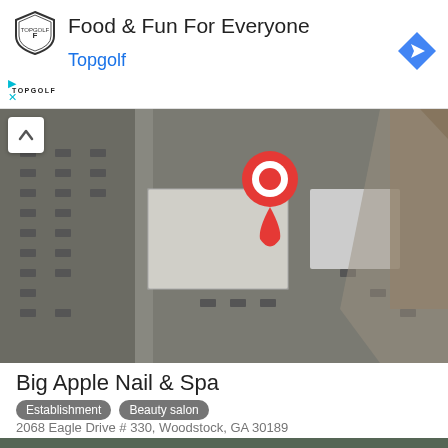[Figure (infographic): Topgolf advertisement banner with shield logo, text 'Food & Fun For Everyone', 'Topgolf' in blue, and a blue navigation arrow icon on the right]
[Figure (map): Aerial satellite map view showing parking lots and buildings with a red Google Maps pin marker in the center]
Big Apple Nail & Spa
Establishment  Beauty salon
2068 Eagle Drive # 330, Woodstock, GA 30189
+1 770-516-9996
[Figure (photo): Partially visible bottom image showing another location or map view]